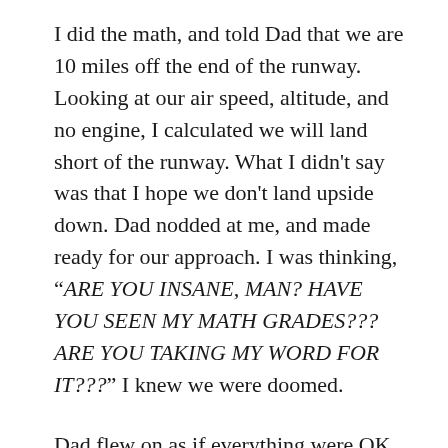I did the math, and told Dad that we are 10 miles off the end of the runway. Looking at our air speed, altitude, and no engine, I calculated we will land short of the runway. What I didn't say was that I hope we don't land upside down. Dad nodded at me, and made ready for our approach. I was thinking, “ARE YOU INSANE, MAN? HAVE YOU SEEN MY MATH GRADES??? ARE YOU TAKING MY WORD FOR IT???” I knew we were doomed.
Dad flew on as if everything were OK. He updated DFW on a periodic